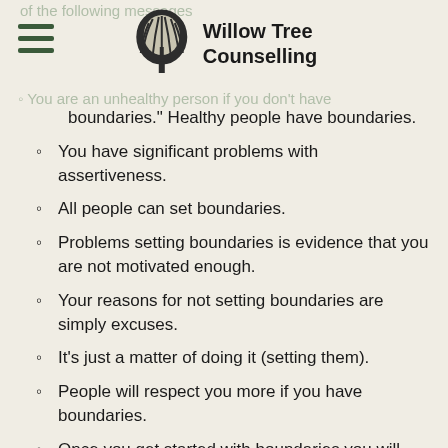Willow Tree Counselling
of the following messages
You are an unhealthy person if you don't have boundaries.
boundaries." Healthy people have boundaries.
You have significant problems with assertiveness.
All people can set boundaries.
Problems setting boundaries is evidence that you are not motivated enough.
Your reasons for not setting boundaries are simply excuses.
It's just a matter of doing it (setting them).
People will respect you more if you have boundaries.
Once you get started with boundaries you will never look back.
You owe it to yourself to have boundaries.